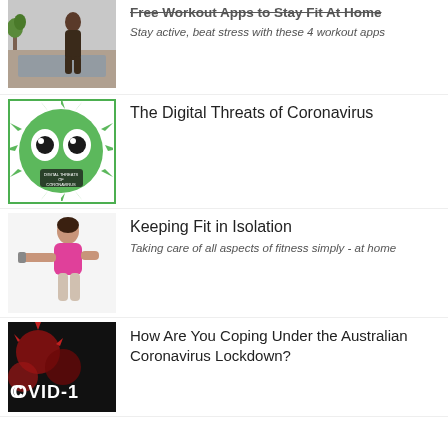[Figure (photo): Person doing workout at home on yoga mat in living room, viewed from above]
Free Workout Apps to Stay Fit At Home
Stay active, beat stress with these 4 workout apps
[Figure (illustration): Green cartoon coronavirus character with big eyes and spikes, text 'Digital Threats of Coronavirus' on body, green border]
The Digital Threats of Coronavirus
[Figure (photo): Woman in pink top stretching her arm, fitness photo on white background]
Keeping Fit in Isolation
Taking care of all aspects of fitness simply - at home
[Figure (photo): Dark image of coronavirus particles with text COVID-19]
How Are You Coping Under the Australian Coronavirus Lockdown?